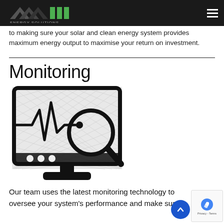ABS Energy Solutions logo and navigation
to making sure your solar and clean energy system provides maximum energy output to maximise your return on investment.
Monitoring
[Figure (illustration): Black and white icon of a computer monitor displaying a heartbeat/waveform graph with a magnifying glass overlay, on a crosshatch background.]
Our team uses the latest monitoring technology to oversee your system's performance and make sure